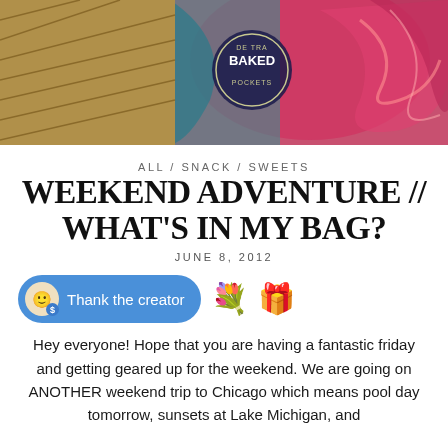[Figure (photo): Colorful photo showing travel snacks and items including a 'BAKED' branded item, fabric with swirling patterns in red, blue, and pink tones]
ALL / SNACK / SWEETS
WEEKEND ADVENTURE // WHAT'S IN MY BAG?
JUNE 8, 2012
[Figure (other): Blue 'Thank the creator' button with icon, followed by flower bouquet and gift box emojis]
Hey everyone! Hope that you are having a fantastic friday and getting geared up for the weekend. We are going on ANOTHER weekend trip to Chicago which means pool day tomorrow, sunsets at Lake Michigan, and